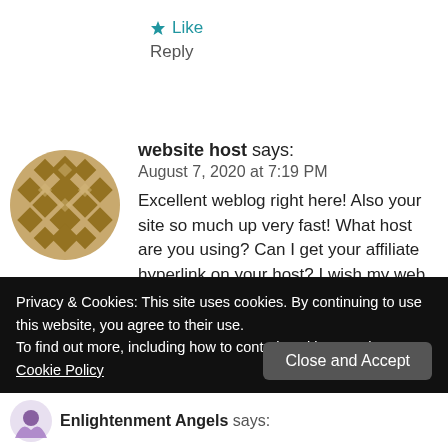★ Like
Reply
website host says:
August 7, 2020 at 7:19 PM
Excellent weblog right here! Also your site so much up very fast! What host are you using? Can I get your affiliate hyperlink on your host? I wish my web site loaded up as quickly as yours lol
Privacy & Cookies: This site uses cookies. By continuing to use this website, you agree to their use.
To find out more, including how to control cookies, see here: Cookie Policy
Close and Accept
Enlightenment Angels says: